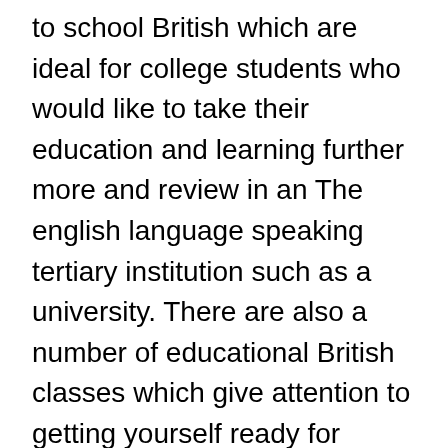to school British which are ideal for college students who would like to take their education and learning further more and review in an The english language speaking tertiary institution such as a university. There are also a number of educational British classes which give attention to getting yourself ready for specific examinations for example IELTS andCambridgeexams.
The ideal English language programs have a mixture of school room and outside studying with lots of sensible parts. You will notice that it's completely different on the learning you